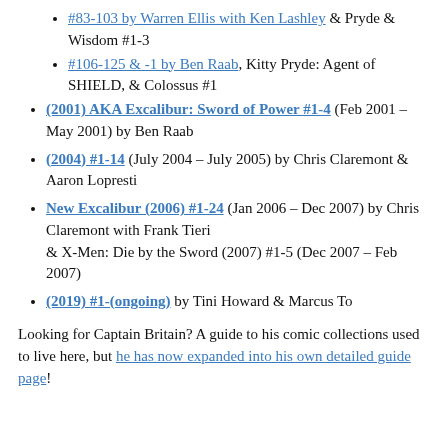#83-103 by Warren Ellis with Ken Lashley & Pryde & Wisdom #1-3
#106-125 & -1 by Ben Raab, Kitty Pryde: Agent of SHIELD, & Colossus #1
(2001) AKA Excalibur: Sword of Power #1-4 (Feb 2001 – May 2001) by Ben Raab
(2004) #1-14 (July 2004 – July 2005) by Chris Claremont & Aaron Lopresti
New Excalibur (2006) #1-24 (Jan 2006 – Dec 2007) by Chris Claremont with Frank Tieri & X-Men: Die by the Sword (2007) #1-5 (Dec 2007 – Feb 2007)
(2019) #1-(ongoing) by Tini Howard & Marcus To
Looking for Captain Britain? A guide to his comic collections used to live here, but he has now expanded into his own detailed guide page!